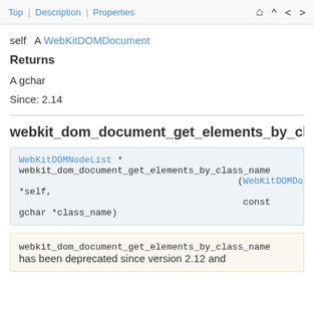Top | Description | Properties
self   A WebKitDOMDocument
Returns
A gchar
Since: 2.14
webkit_dom_document_get_elements_by_class_n
WebKitDOMNodeList *
webkit_dom_document_get_elements_by_class_name
                                        (WebKitDOMDocument *self,
                                         const gchar *class_name)
webkit_dom_document_get_elements_by_class_name has been deprecated since version 2.12 and